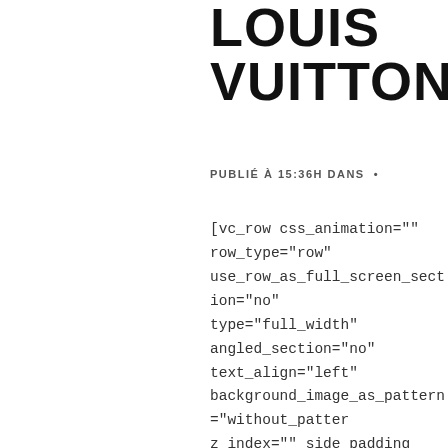LOUIS VUITTON
PUBLIÉ À 15:36H DANS •
[vc_row css_animation="" row_type="row" use_row_as_full_screen_section="no" type="full_width" angled_section="no" text_align="left" background_image_as_pattern="without_patter z_index="" side_padding="0"] [vc_column width="2/3" css=".vc_custom_1651496836199{background-image: url(https://wwww.atixis.com/wp-content/uploads/2021/11/carre-